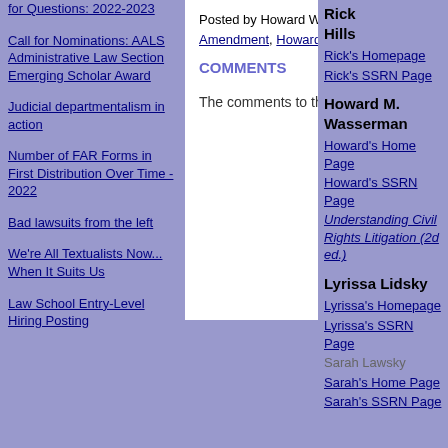for Questions: 2022-2023
Call for Nominations: AALS Administrative Law Section Emerging Scholar Award
Judicial departmentalism in action
Number of FAR Forms in First Distribution Over Time - 2022
Bad lawsuits from the left
We're All Textualists Now... When It Suits Us
Law School Entry-Level Hiring Posting
Posted by Howard Wasserman on May 26, 2015 at 11:58 AM in First Amendment, Howard Wasserman | Permalink
COMMENTS
The comments to this entry are closed.
Rick Hills
Rick's Homepage
Rick's SSRN Page
Howard M. Wasserman
Howard's Home Page
Howard's SSRN Page
Understanding Civil Rights Litigation (2d ed.)
Lyrissa Lidsky
Lyrissa's Homepage
Lyrissa's SSRN Page
Sarah Lawsky
Sarah's Home Page
Sarah's SSRN Page